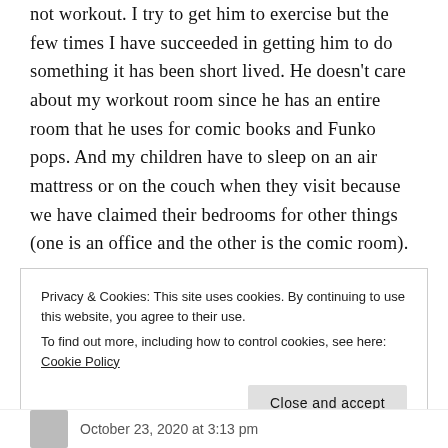not workout. I try to get him to exercise but the few times I have succeeded in getting him to do something it has been short lived. He doesn't care about my workout room since he has an entire room that he uses for comic books and Funko pops. And my children have to sleep on an air mattress or on the couch when they visit because we have claimed their bedrooms for other things (one is an office and the other is the comic room).
Privacy & Cookies: This site uses cookies. By continuing to use this website, you agree to their use.
To find out more, including how to control cookies, see here: Cookie Policy
Close and accept
October 23, 2020 at 3:13 pm